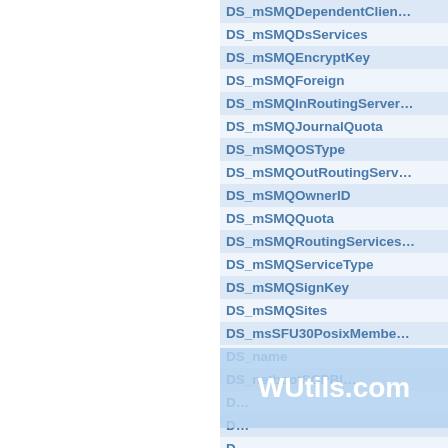| Name |
| --- |
| DS_mSMQDependentClien… |
| DS_mSMQDsServices |
| DS_mSMQEncryptKey |
| DS_mSMQForeign |
| DS_mSMQInRoutingServer… |
| DS_mSMQJournalQuota |
| DS_mSMQOSType |
| DS_mSMQOutRoutingServ… |
| DS_mSMQOwnerID |
| DS_mSMQQuota |
| DS_mSMQRoutingServices… |
| DS_mSMQServiceType |
| DS_mSMQSignKey |
| DS_mSMQSites |
| DS_msSFU30PosixMembe… |
| DS_name |
| DS_netbootSCPBl… |
| D… |
| D… |
| D… |